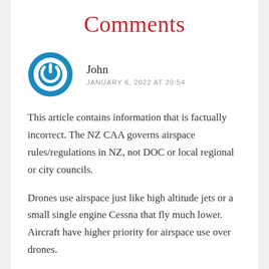Comments
[Figure (illustration): Blue circular power/user avatar icon with white power button symbol inside]
John
JANUARY 6, 2022 AT 20:54
This article contains information that is factually incorrect. The NZ CAA governs airspace rules/regulations in NZ, not DOC or local regional or city councils.
Drones use airspace just like high altitude jets or a small single engine Cessna that fly much lower. Aircraft have higher priority for airspace use over drones.
For most retail branded drones, like the DJI Mavic